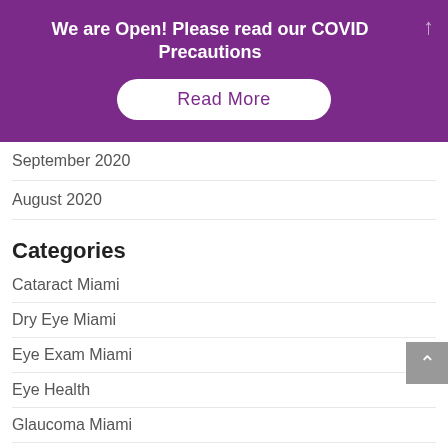We are Open! Please read our COVID Precautions
Read More
September 2020
August 2020
Categories
Cataract Miami
Dry Eye Miami
Eye Exam Miami
Eye Health
Glaucoma Miami
Ophthalmology Miami
Uncategorized